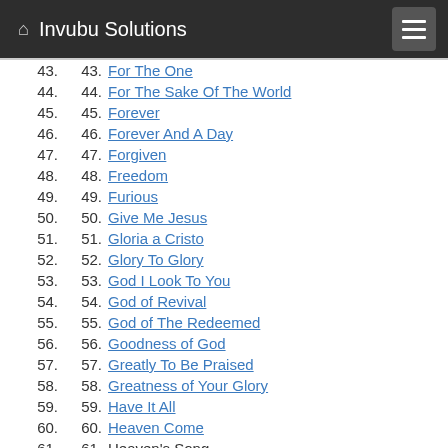Invubu Solutions
43. For The One
44. For The Sake Of The World
45. Forever
46. Forever And A Day
47. Forgiven
48. Freedom
49. Furious
50. Give Me Jesus
51. Gloria a Cristo
52. Glory To Glory
53. God I Look To You
54. God of Revival
55. God of The Redeemed
56. Goodness of God
57. Greatly To Be Praised
58. Greatness of Your Glory
59. Have It All
60. Heaven Come
61. Heaven's Song